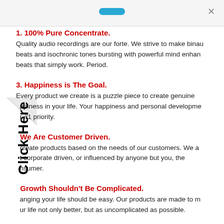1. 100% Pure Concentrate.
Quality audio recordings are our forte. We strive to make binaural beats and isochronic tones bursting with powerful mind enhancing beats that simply work. Period.
3. Happiness is The Goal.
Every product we create is a puzzle piece to create genuine happiness in your life. Your happiness and personal development is our #1 priority.
We Are Customer Driven.
create products based on the needs of our customers. We are not corporate driven, or influenced by anyone but you, the consumer.
Growth Shouldn't Be Complicated.
anging your life should be easy. Our products are made to make your life not only better, but as uncomplicated as possible.